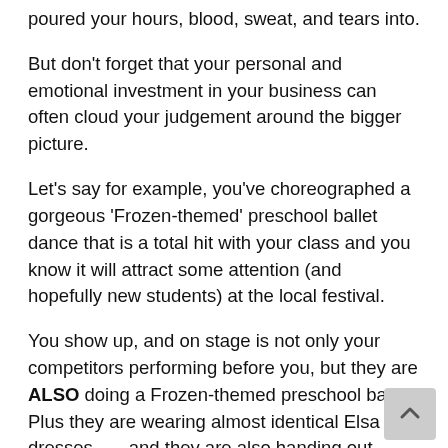poured your hours, blood, sweat, and tears into.
But don't forget that your personal and emotional investment in your business can often cloud your judgement around the bigger picture.
Let's say for example, you've choreographed a gorgeous 'Frozen-themed' preschool ballet dance that is a total hit with your class and you know it will attract some attention (and hopefully new students) at the local festival.
You show up, and on stage is not only your competitors performing before you, but they are ALSO doing a Frozen-themed preschool ballet! Plus they are wearing almost identical Elsa dresses . . . and they are also handing out balloons and 'Free Trial Class' flyers just like you were planning to.